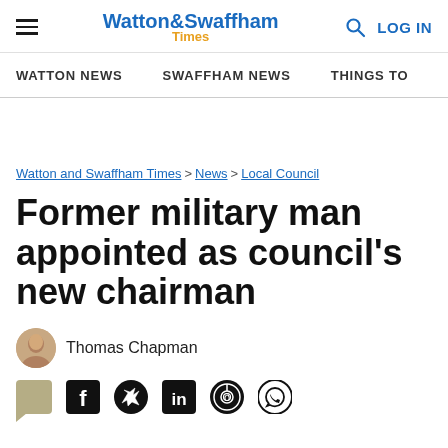Watton & Swaffham Times — LOG IN
WATTON NEWS | SWAFFHAM NEWS | THINGS TO
Watton and Swaffham Times > News > Local Council
Former military man appointed as council's new chairman
Thomas Chapman